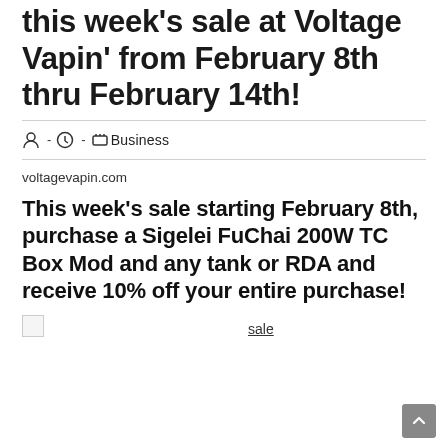this week's sale at Voltage Vapin' from February 8th thru February 14th!
- - Business
voltagevapin.com
This week's sale starting February 8th, purchase a Sigelei FuChai 200W TC Box Mod and any tank or RDA and receive 10% off your entire purchase!
[Figure (other): Broken image placeholder with 'sale' link caption below]